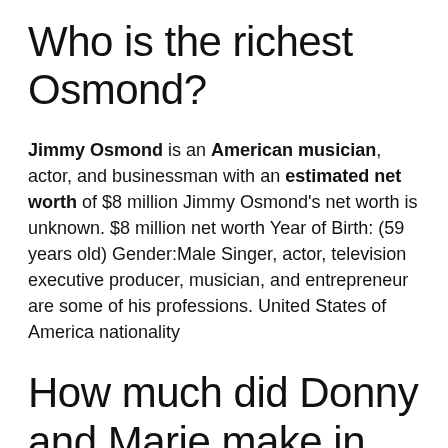Who is the richest Osmond?
Jimmy Osmond is an American musician, actor, and businessman with an estimated net worth of $8 million Jimmy Osmond's net worth is unknown. $8 million net worth Year of Birth: (59 years old) Gender:Male Singer, actor, television executive producer, musician, and entrepreneur are some of his professions. United States of America nationality
How much did Donny and Marie make in Vegas?